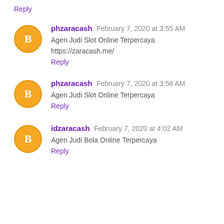Reply
phzaracash February 7, 2020 at 3:55 AM
Agen Judi Slot Online Terpercaya
https://zaracash.me/
Reply
phzaracash February 7, 2020 at 3:56 AM
Agen Judi Slot Online Terpercaya
Reply
idzaracash February 7, 2020 at 4:02 AM
Agen Judi Bola Online Terpercaya
Reply